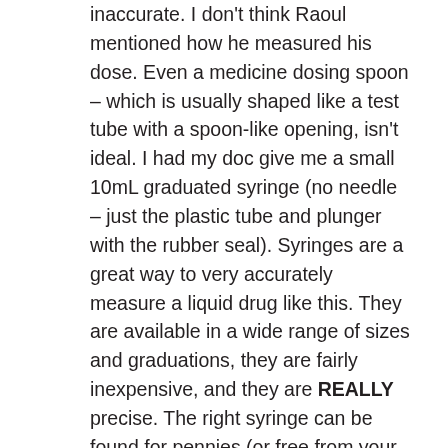inaccurate. I don't think Raoul mentioned how he measured his dose. Even a medicine dosing spoon – which is usually shaped like a test tube with a spoon-like opening, isn't ideal. I had my doc give me a small 10mL graduated syringe (no needle – just the plastic tube and plunger with the rubber seal). Syringes are a great way to very accurately measure a liquid drug like this. They are available in a wide range of sizes and graduations, they are fairly inexpensive, and they are REALLY precise. The right syringe can be found for pennies (or free from your doc in most cases) and can measure your dose in fractions of a mL. I noticed many people posted that they actually needed to adjust their dose down to a smaller amount. Using a syringe